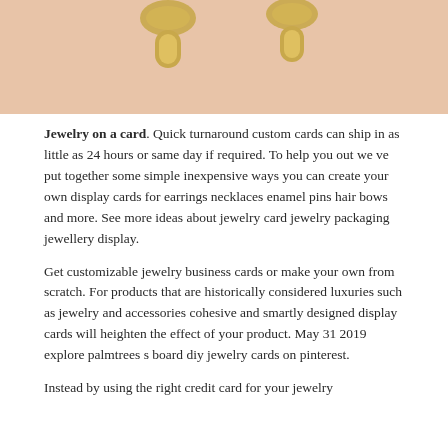[Figure (photo): Partial view of gold jewelry items (earrings/rings) on a peach/beige background]
Jewelry on a card. Quick turnaround custom cards can ship in as little as 24 hours or same day if required. To help you out we ve put together some simple inexpensive ways you can create your own display cards for earrings necklaces enamel pins hair bows and more. See more ideas about jewelry card jewelry packaging jewellery display.
Get customizable jewelry business cards or make your own from scratch. For products that are historically considered luxuries such as jewelry and accessories cohesive and smartly designed display cards will heighten the effect of your product. May 31 2019 explore palmtrees s board diy jewelry cards on pinterest.
Instead by using the right credit card for your jewelry